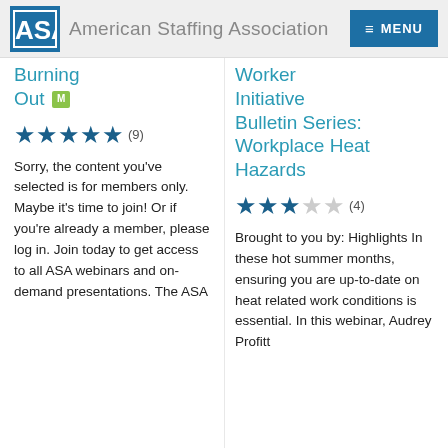American Staffing Association
Burning Out M
★★★★★ (9)
Sorry, the content you've selected is for members only. Maybe it's time to join! Or if you're already a member, please log in. Join today to get access to all ASA webinars and on-demand presentations. The ASA
Worker Initiative Bulletin Series: Workplace Heat Hazards
★★★☆☆ (4)
Brought to you by: Highlights In these hot summer months, ensuring you are up-to-date on heat related work conditions is essential. In this webinar, Audrey Profitt